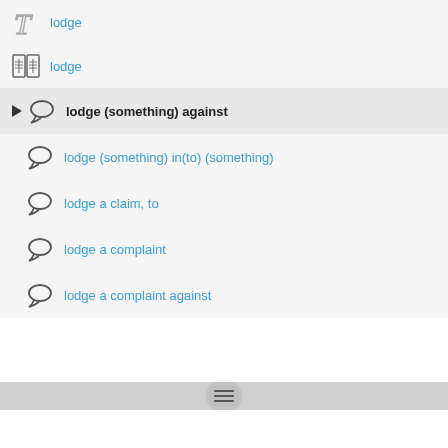lodge
lodge
lodge (something) against
lodge (something) in(to) (something)
lodge a claim, to
lodge a complaint
lodge a complaint against